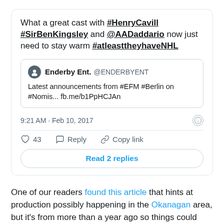[Figure (screenshot): Embedded tweet card showing tweet text with hashtags #HenryCavill #SirBenKingsley @AADaddario #atleasttheyhaveNHL, a quoted tweet from Enderby Ent. @ENDERBYENT about EFM Berlin Nomis announcement, timestamp 9:21 AM Feb 10 2017, 43 likes, Reply, Copy link actions, and Read 2 replies button.]
One of our readers found this article that hints at production possibly happening in the Okanagan area, but it's from more than a year ago so things could have (very possibly) changed: